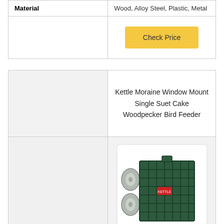|  |  |
| --- | --- |
| Material | Wood, Alloy Steel, Plastic, Metal |
|  | Check Price |
|  | Kettle Moraine Window Mount Single Suet Cake Woodpecker Bird Feeder |
| --- | --- |
| [image area] | [product image] |
|  |  |
[Figure (photo): Kettle Moraine Window Mount Single Suet Cake Woodpecker Bird Feeder - dark green wire grid cage with suction cups on the sides]